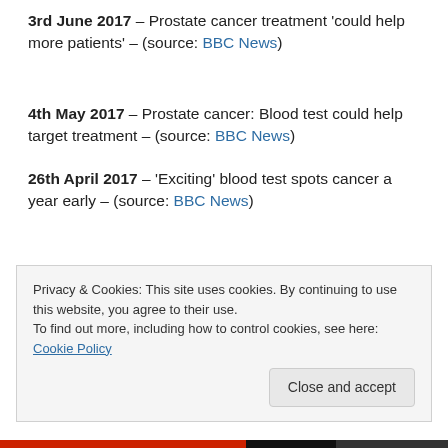3rd June 2017 – Prostate cancer treatment 'could help more patients' – (source: BBC News)
4th May 2017 – Prostate cancer: Blood test could help target treatment – (source: BBC News)
26th April 2017 – 'Exciting' blood test spots cancer a year early – (source: BBC News)
Privacy & Cookies: This site uses cookies. By continuing to use this website, you agree to their use. To find out more, including how to control cookies, see here: Cookie Policy